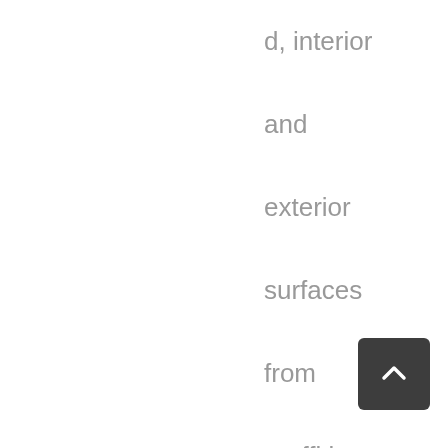d, interior and exterior surfaces from graffiti defacement, including: painted wood, brick, masonry,